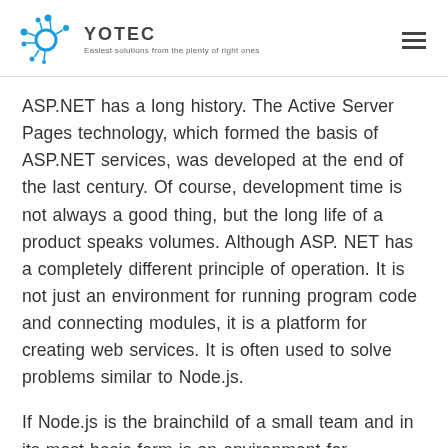YOTEC — Easiest solutions from the plenty of right ones
ASP.NET has a long history. The Active Server Pages technology, which formed the basis of ASP.NET services, was developed at the end of the last century. Of course, development time is not always a good thing, but the long life of a product speaks volumes. Although ASP. NET has a completely different principle of operation. It is not just an environment for running program code and connecting modules, it is a platform for creating web services. It is often used to solve problems similar to Node.js.
If Node.js is the brainchild of a small team and in its most basic form is an environment for...